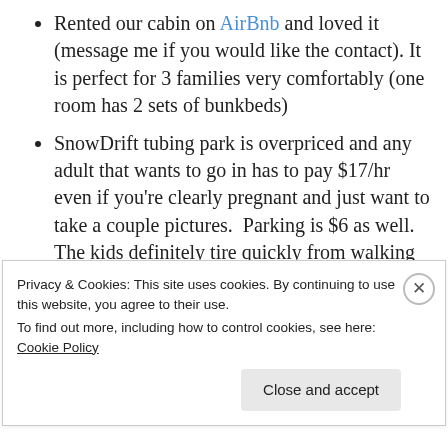Rented our cabin on AirBnb and loved it (message me if you would like the contact). It is perfect for 3 families very comfortably (one room has 2 sets of bunkbeds)
SnowDrift tubing park is overpriced and any adult that wants to go in has to pay $17/hr even if you're clearly pregnant and just want to take a couple pictures.  Parking is $6 as well. The kids definitely tire quickly from walking up the steps with their tube so 1 hour is
Privacy & Cookies: This site uses cookies. By continuing to use this website, you agree to their use.
To find out more, including how to control cookies, see here: Cookie Policy